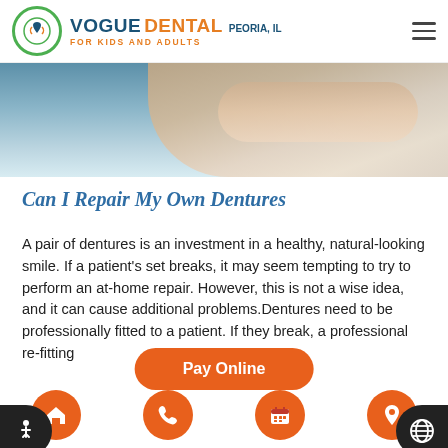Vogue Dental Peoria, IL – For Kids and Adults
[Figure (photo): Hero image showing hands/arms against a light blue background]
Can I Repair My Own Dentures
A pair of dentures is an investment in a healthy, natural-looking smile. If a patient's set breaks, it may seem tempting to try to perform an at-home repair. However, this is not a wise idea, and it can cause additional problems.Dentures need to be professionally fitted to a patient. If they break, a professional re-fitting...